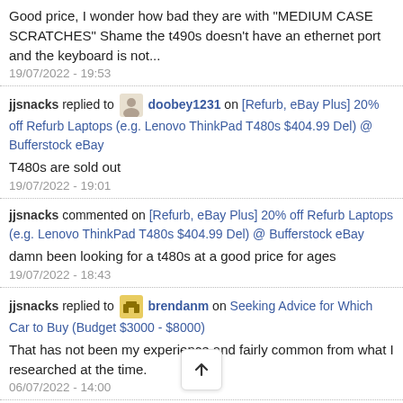Good price, I wonder how bad they are with "MEDIUM CASE SCRATCHES" Shame the t490s doesn't have an ethernet port and the keyboard is not...
19/07/2022 - 19:53
jjsnacks replied to doobey1231 on [Refurb, eBay Plus] 20% off Refurb Laptops (e.g. Lenovo ThinkPad T480s $404.99 Del) @ Bufferstock eBay
T480s are sold out
19/07/2022 - 19:01
jjsnacks commented on [Refurb, eBay Plus] 20% off Refurb Laptops (e.g. Lenovo ThinkPad T480s $404.99 Del) @ Bufferstock eBay
damn been looking for a t480s at a good price for ages
19/07/2022 - 18:43
jjsnacks replied to brendanm on Seeking Advice for Which Car to Buy (Budget $3000 - $8000)
That has not been my experience and fairly common from what I researched at the time.
06/07/2022 - 14:00
jjsnacks replied to brenda... on Seeking Advice for Which